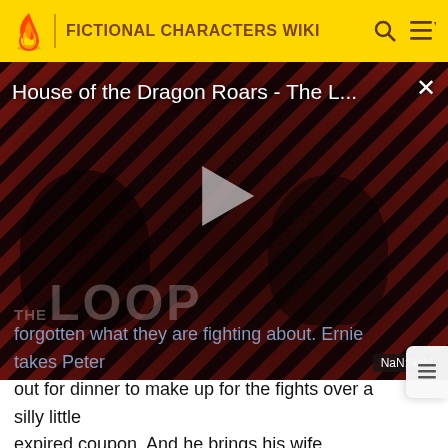FICTIONAL CHARACTERS WIKI
[Figure (screenshot): Video thumbnail for 'House of the Dragon Roars - The L...' showing a dark red diagonal striped background with silhouetted figures, a play button, THE LOOP watermark, and NaN:NaN time display]
forgotten what they are fighting about. Ernie takes Peter out for dinner to make up for the fights over a silly little expired coupon. And he brings his wife, another chicken named Nicole and Ernie's name is given by his wife over their dinner. Just as Peter and Ernie seemed to have resolved their differences, another fight ensues when